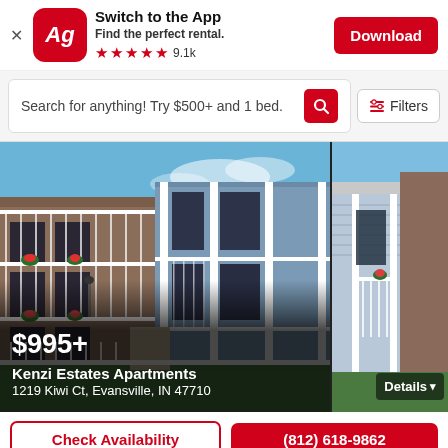[Figure (screenshot): App banner with Apartment Guide (Ag) logo, Switch to the App text, 5 red stars rating, 9.1k reviews, and red Download button]
Search for anything! Try $500+ and 1 bed.
[Figure (photo): Apartment building exterior photo showing multi-story building with balconies, white railings, flower baskets, green lawn, and blue sky. Price overlay shows $995+, Kenzi Estates Apartments, 1219 Kiwi Ct, Evansville, IN 47710. Details button in lower right.]
$995+
Kenzi Estates Apartments
1219 Kiwi Ct, Evansville, IN 47710
Check Availability
(812) 618-9862